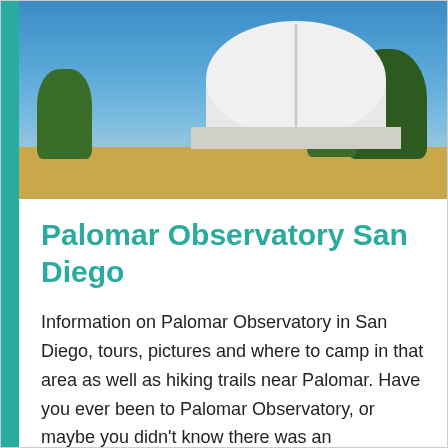[Figure (photo): Photograph of Palomar Observatory dome with white radio telescope dish visible above dry golden grass hillside, green trees on left and right, blue sky background.]
Palomar Observatory San Diego
Information on Palomar Observatory in San Diego, tours, pictures and where to camp in that area as well as hiking trails near Palomar. Have you ever been to Palomar Observatory, or maybe you didn't know there was an